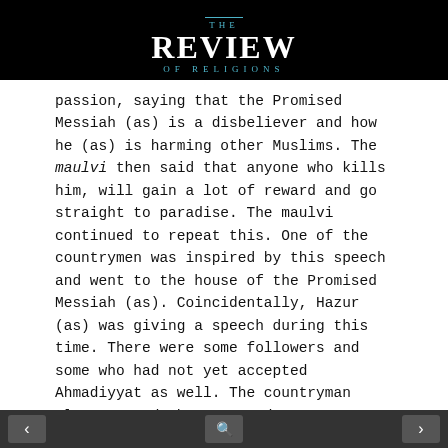THE REVIEW OF RELIGIONS
passion, saying that the Promised Messiah (as) is a disbeliever and how he (as) is harming other Muslims. The maulvi then said that anyone who kills him, will gain a lot of reward and go straight to paradise. The maulvi continued to repeat this. One of the countrymen was inspired by this speech and went to the house of the Promised Messiah (as). Coincidentally, Hazur (as) was giving a speech during this time. There were some followers and some who had not yet accepted Ahmadiyyat as well. The countryman also entered the room and was preparing to fulfill his mission. The Promised Messiah (as) did not pay attention to him and continued his
< search >